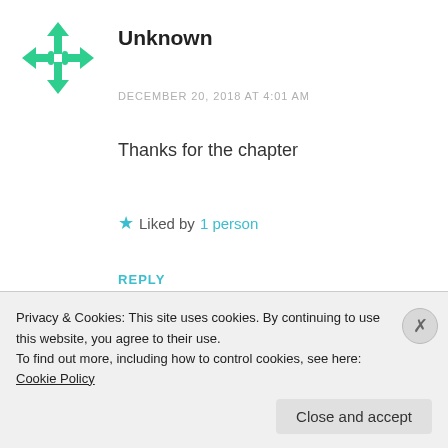[Figure (logo): Green geometric avatar icon with arrow/cross shape]
Unknown
DECEMBER 20, 2018 AT 4:01 AM
Thanks for the chapter
★ Liked by 1 person
REPLY
[Figure (illustration): Partial avatar of second commenter, partially visible]
Conchio (partially visible)
Privacy & Cookies: This site uses cookies. By continuing to use this website, you agree to their use.
To find out more, including how to control cookies, see here: Cookie Policy
Close and accept